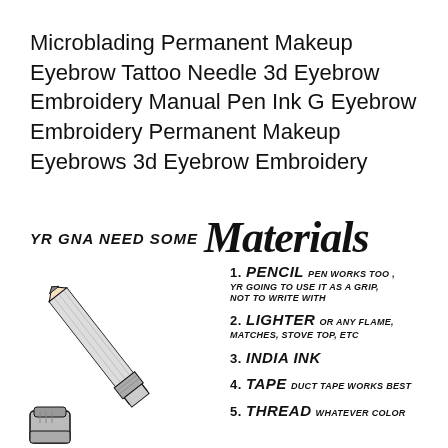Microblading Permanent Makeup Eyebrow Tattoo Needle 3d Eyebrow Embroidery Manual Pen Ink G Eyebrow Embroidery Permanent Makeup Eyebrows 3d Eyebrow Embroidery
[Figure (illustration): Infographic-style illustration with 'YR GNA NEED SOME Materials' header in bold italic black text, a pencil illustration on the left, and a numbered materials list on the right: 1. PENCIL (pen works too, yr going to use it as a grip, not to write with), 2. LIGHTER or any flame, matches, stove top, etc, 3. INDIA INK, 4. TAPE duct tape works best, 5. THREAD whatever color]